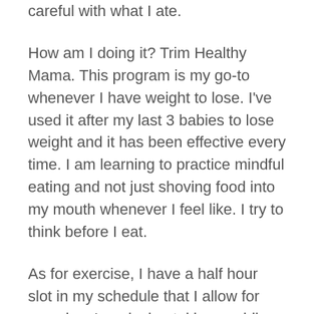careful with what I ate.
How am I doing it? Trim Healthy Mama. This program is my go-to whenever I have weight to lose. I’ve used it after my last 3 babies to lose weight and it has been effective every time. I am learning to practice mindful eating and not just shoving food into my mouth whenever I feel like. I try to think before I eat.
As for exercise, I have a half hour slot in my schedule that I allow for exercise. I am loving taking my bike out for a ride. I find it really calming and it clears my head. I walk too, and sometimes run for a few minutes during my walk. My aim is to exercise 5 times a week – but usually I get in 3 half hour sessions.
I’m really thankful to have been successful so far in